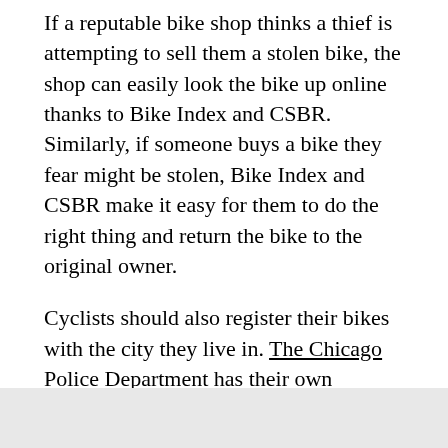If a reputable bike shop thinks a thief is attempting to sell them a stolen bike, the shop can easily look the bike up online thanks to Bike Index and CSBR. Similarly, if someone buys a bike they fear might be stolen, Bike Index and CSBR make it easy for them to do the right thing and return the bike to the original owner.
Cyclists should also register their bikes with the city they live in. The Chicago Police Department has their own registry, which helps them quickly return bikes that end up in their possession.
"Twenty-five percent of our reports each year are of bikes that were unlocked," CSBR tells me.